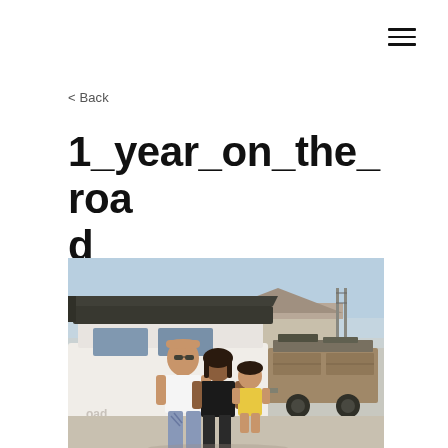≡
< Back
1_year_on_the_road
[Figure (photo): A family of three — a man in a white t-shirt and sunglasses, a woman in a black top, and a small child in a yellow outfit — standing in front of a white 4WD vehicle with a roof-top tent. In the background is an off-road trailer/camper and a house roofline under a clear sky.]